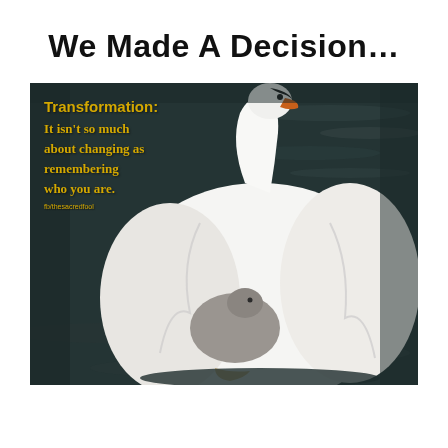We Made A Decision…
[Figure (photo): A white swan on dark water with a cygnet nestled under its wing. Overlay text reads: 'Transformation: It isn't so much about changing as remembering who you are. fb/thesacredfool']